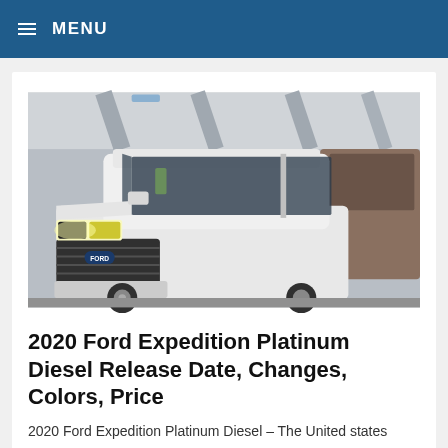≡ MENU
[Figure (photo): White Ford Expedition SUV on an assembly line or parking facility, front three-quarter view, with headlights on and additional vehicles visible in the background]
2020 Ford Expedition Platinum Diesel Release Date, Changes, Colors, Price
2020 Ford Expedition Platinum Diesel – The United states